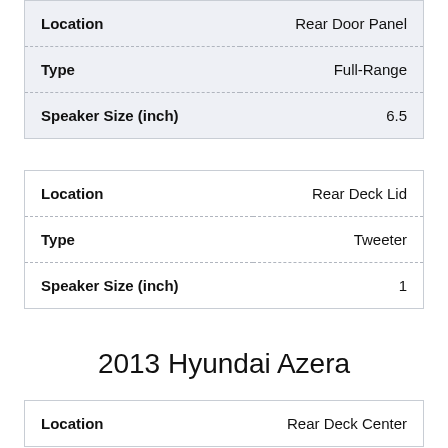|  |  |
| --- | --- |
| Location | Rear Door Panel |
| Type | Full-Range |
| Speaker Size (inch) | 6.5 |
|  |  |
| --- | --- |
| Location | Rear Deck Lid |
| Type | Tweeter |
| Speaker Size (inch) | 1 |
2013 Hyundai Azera
|  |  |
| --- | --- |
| Location | Rear Deck Center |